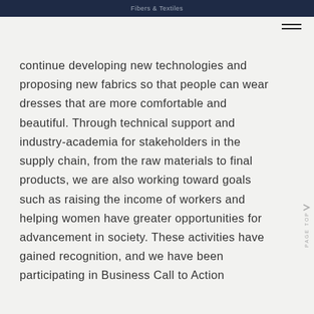Fibers & Textiles
continue developing new technologies and proposing new fabrics so that people can wear dresses that are more comfortable and beautiful. Through technical support and industry-academia for stakeholders in the supply chain, from the raw materials to final products, we are also working toward goals such as raising the income of workers and helping women have greater opportunities for advancement in society. These activities have gained recognition, and we have been participating in Business Call to Action